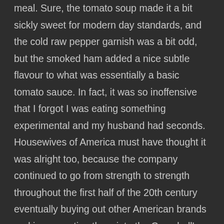meal. Sure, the tomato soup made it a bit sickly sweet for modern day standards, and the cold raw pepper garnish was a bit odd, but the smoked ham added a nice subtle flavour to what was essentially a basic tomato sauce. In fact, it was so inoffensive that I forgot I was eating something experimental and my husband had seconds. Housewives of America must have thought it was alright too, because the company continued to go from strength to strength throughout the first half of the 20th century eventually buying out other American brands and incorporating them into the Campbell's family. 1916 was still too early to be considered the era of convenience food, but with their tinned soup and quick family friendly recipes